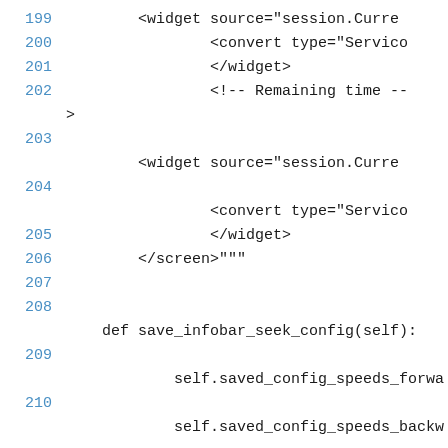199  <widget source="session.Curre
200      <convert type="Servico
201      </widget>
202      <!-- Remaining time -->
203  <widget source="session.Curre
204      <convert type="Servico
205      </widget>
206  </screen>"""
207
208  def save_infobar_seek_config(self):
209      self.saved_config_speeds_forwa
210      self.saved_config_speeds_backw